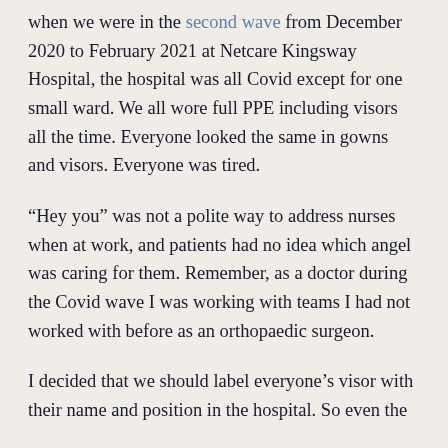when we were in the second wave from December 2020 to February 2021 at Netcare Kingsway Hospital, the hospital was all Covid except for one small ward. We all wore full PPE including visors all the time. Everyone looked the same in gowns and visors. Everyone was tired.
“Hey you” was not a polite way to address nurses when at work, and patients had no idea which angel was caring for them. Remember, as a doctor during the Covid wave I was working with teams I had not worked with before as an orthopaedic surgeon.
I decided that we should label everyone’s visor with their name and position in the hospital. So even the